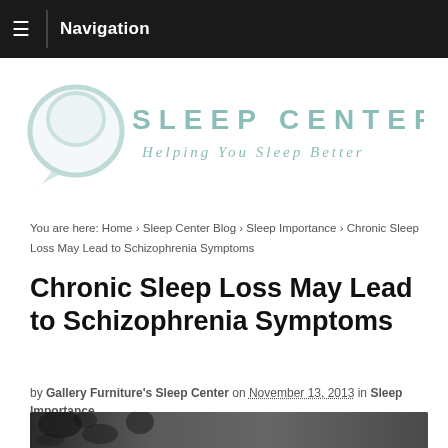Navigation
[Figure (logo): Sleep Center logo — stylized pillow/speech-bubble icon with text 'SLEEP CENTER' and tagline 'Helping You Sleep Better' in teal/gray]
You are here: Home › Sleep Center Blog › Sleep Importance › Chronic Sleep Loss May Lead to Schizophrenia Symptoms
Chronic Sleep Loss May Lead to Schizophrenia Symptoms
by Gallery Furniture's Sleep Center on November 13, 2013 in Sleep Importance
[Figure (photo): Partial photo at bottom of page showing a dark, blurry image, likely a person sleeping]